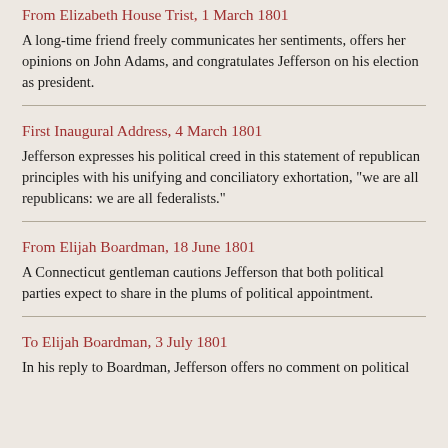From Elizabeth House Trist, 1 March 1801
A long-time friend freely communicates her sentiments, offers her opinions on John Adams, and congratulates Jefferson on his election as president.
First Inaugural Address, 4 March 1801
Jefferson expresses his political creed in this statement of republican principles with his unifying and conciliatory exhortation, "we are all republicans: we are all federalists."
From Elijah Boardman, 18 June 1801
A Connecticut gentleman cautions Jefferson that both political parties expect to share in the plums of political appointment.
To Elijah Boardman, 3 July 1801
In his reply to Boardman, Jefferson offers no comment on political